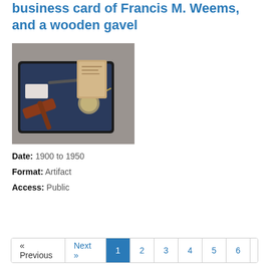business card of Francis M. Weems, and a wooden gavel
[Figure (photo): Photograph of a collection of items including a wooden gavel, a business card, a pocket watch, and other artifacts arranged on a dark surface with a small book or card in the background.]
Date: 1900 to 1950
Format: Artifact
Access: Public
« Previous  Next »  1  2  3  4  5  6  7